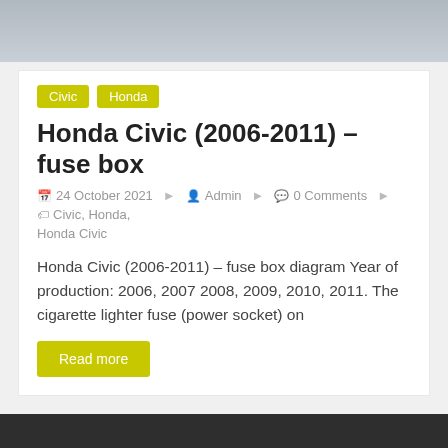[Figure (photo): Top portion of a car photo, gray/silver vehicle, cropped]
Civic
Honda
Honda Civic (2006-2011) – fuse box
24 October 2021  Admin  0 Comments  Civic, Honda, Honda Civic
Honda Civic (2006-2011) – fuse box diagram Year of production: 2006, 2007 2008, 2009, 2010, 2011. The cigarette lighter fuse (power socket) on
Read more
[Figure (photo): Dark footer area with upward chevron arrow icon on the right]